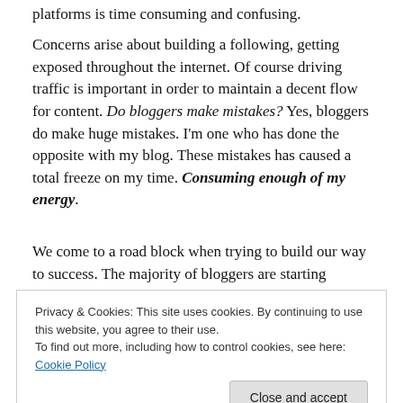platforms is time consuming and confusing.
Concerns arise about building a following, getting exposed throughout the internet. Of course driving traffic is important in order to maintain a decent flow for content. Do bloggers make mistakes? Yes, bloggers do make huge mistakes. I'm one who has done the opposite with my blog. These mistakes has caused a total freeze on my time. Consuming enough of my energy.
We come to a road block when trying to build our way to success. The majority of bloggers are starting wrong by
Privacy & Cookies: This site uses cookies. By continuing to use this website, you agree to their use. To find out more, including how to control cookies, see here: Cookie Policy
Close and accept
eventually fail